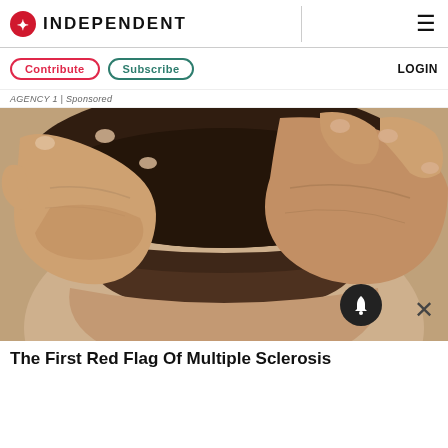INDEPENDENT
Contribute  Subscribe  LOGIN
AGENCY 1 | Sponsored
[Figure (photo): Close-up photograph of two hands pressing on the back of a person's neck/head, showing scalp and hair line, associated with multiple sclerosis symptoms]
The First Red Flag Of Multiple Sclerosis